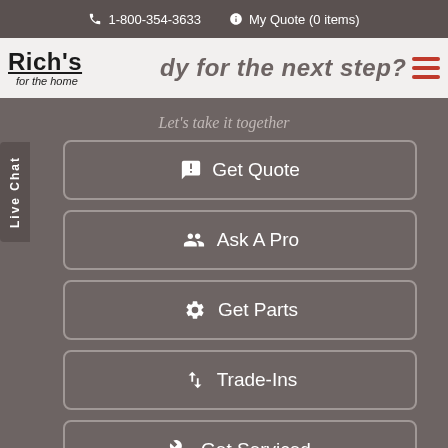1-800-354-3633  My Quote (0 items)
[Figure (logo): Rich's for the home logo with navigation bar showing partial text 'dy for the next step?' and hamburger menu]
Let's take it together
Get Quote
Ask A Pro
Get Parts
Trade-Ins
Get Serviced